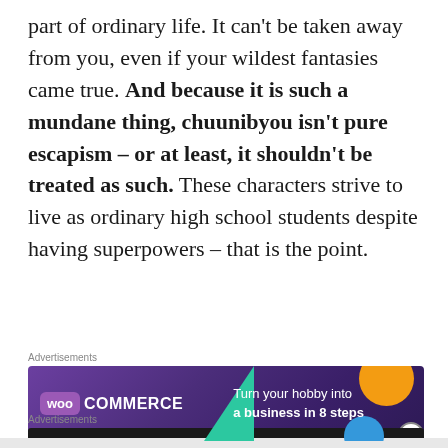part of ordinary life. It can't be taken away from you, even if your wildest fantasies came true. And because it is such a mundane thing, chuunibyou isn't pure escapism – or at least, it shouldn't be treated as such. These characters strive to live as ordinary high school students despite having superpowers – that is the point.
Advertisements
[Figure (other): WooCommerce advertisement banner: purple background with teal triangle, orange and blue circles, text 'Turn your hobby into a business in 8 steps']
Advertisements
[Figure (other): Fewer meetings, more work. — dark banner advertisement with F2 logo]